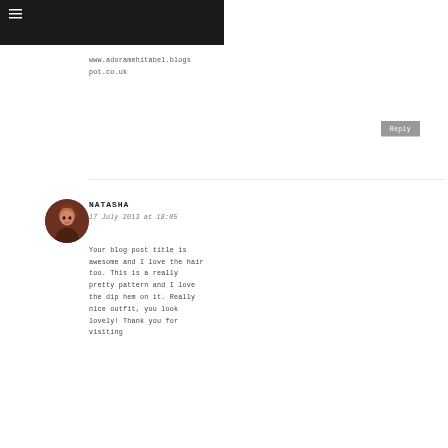≡
www.adoramehitabel.blogspot.co.uk
Reply
NATASHA
17 July 2013 at 18:05
Your blog post title is awesome and I love the hair too. This is a really pretty pattern and I love the dip hem on it. Really nice outfit, you look lovely! Thank you for visiting